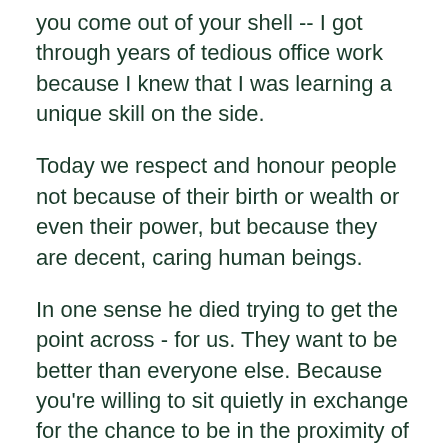you come out of your shell -- I got through years of tedious office work because I knew that I was learning a unique skill on the side.
Today we respect and honour people not because of their birth or wealth or even their power, but because they are decent, caring human beings.
In one sense he died trying to get the point across - for us. They want to be better than everyone else. Because you're willing to sit quietly in exchange for the chance to be in the proximity of a pretty girl and spend every second imagining how soft her skin must be.
No obvious natural boundary separates Austria from Germany. In combination with her natural, seemingly endless curiosity, the result was an inquisitiveness rare for a politician. Defense Minister pointedly observed, to